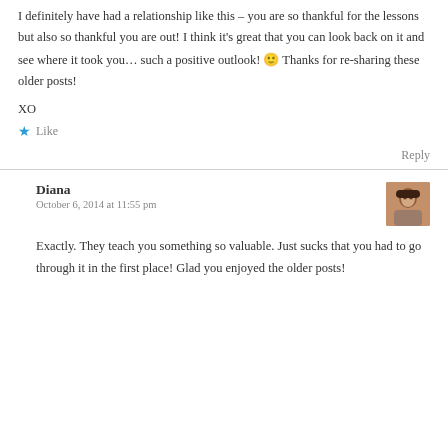I definitely have had a relationship like this – you are so thankful for the lessons but also so thankful you are out! I think it's great that you can look back on it and see where it took you… such a positive outlook! 🙂 Thanks for re-sharing these older posts!
XO
★ Like
Reply
Diana
October 6, 2014 at 11:55 pm
Exactly. They teach you something so valuable. Just sucks that you had to go through it in the first place! Glad you enjoyed the older posts!